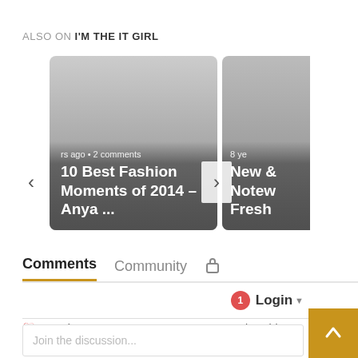ALSO ON I'M THE IT GIRL
[Figure (screenshot): Card carousel showing two article thumbnails: '10 Best Fashion Moments of 2014 – Anya ...' with 2 comments label, and 'New & Notew Fresh' partially visible. Navigation left/right arrows visible.]
Comments   Community   🔒
1  Login ▾
♡ Favorite    Sort by Oldest ▾
Join the discussion...